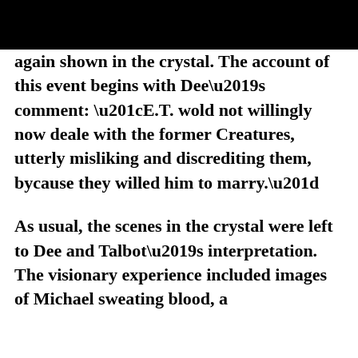again shown in the crystal.  The account of this event begins with Dee’s comment: “E.T. wold not willingly now deale with the former Creatures, utterly misliking and discrediting them, bycause they willed him to marry.”
As usual, the scenes in the crystal were left to Dee and Talbot’s interpretation. The visionary experience included images of Michael sweating blood, a